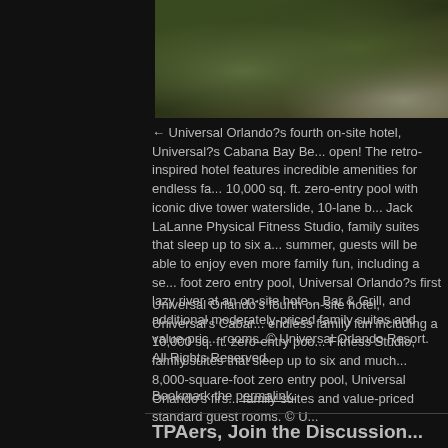[Figure (photo): Partial photo of landscaping/greenery at Universal Orlando Cabana Bay Beach Resort, showing bushes and ground cover on dark background]
← Universal Orlando?s fourth on-site hotel, Universal?s Cabana Bay Be... open! The retro-inspired hotel features incredible amenities for endless fa... 10,000 sq. ft. zero-entry pool with iconic dive tower waterslide, 10-lane b... Jack LaLanne Physical Fitness Studio, family suites that sleep up to six a... summer, guests will be able to enjoy even more family fun, including a se... foot zero entry pool, Universal Orlando?s first lazy river at an on-site hote... Bar & Grill, and additional moderately-priced family suites and value-pric... rooms. © Universal Orlando Resort. All Rights Reserved.
Universal Orlando's fourth on-site hotel, Universal's Cabar... endless family fun including a 10,000 sq. ft. zero-entry poo... Fitness Studio, family suites that sleep up to six and much... 8,000-square-foot zero entry pool, Universal Orlando's firs... family suites and value-priced standard guest rooms. © U...
Bookmark the permalink.
TPAers, Join the Discussion...